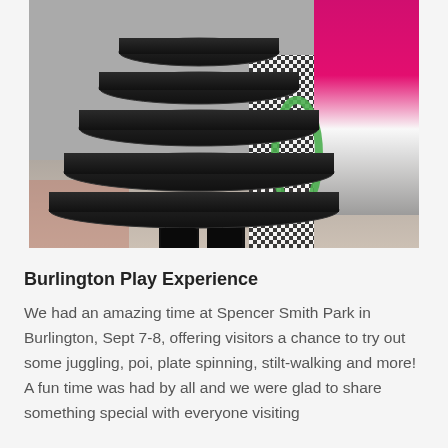[Figure (photo): People in costumes/performance wear at an outdoor event. The foreground shows a person in a large tiered black skirt, with other performers visible in the background including someone in bright pink ruffled costume.]
Burlington Play Experience
We had an amazing time at Spencer Smith Park in Burlington, Sept 7-8, offering visitors a chance to try out some juggling, poi, plate spinning, stilt-walking and more! A fun time was had by all and we were glad to share something special with everyone visiting